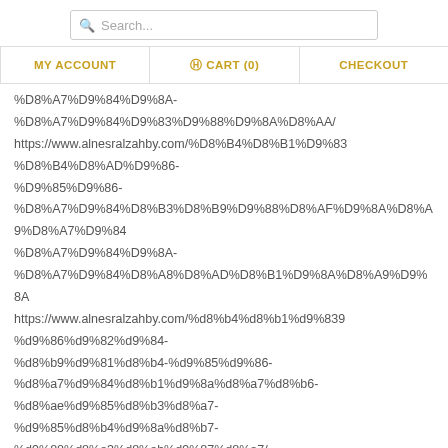[Figure (screenshot): Search bar with magnifying glass icon and placeholder text 'Search...']
MY ACCOUNT | CART (0) | CHECKOUT
%D8%A7%D9%84%D9%8A-
%D8%A7%D9%84%D9%83%D9%88%D9%8A%D8%AA/
https://www.alnesralzahby.com/%D8%B4%D8%B1%D9%83%D8%B4%D8%A7%D8%B1%D9%86%D8%B3-%D8%B1%D9%82%D9%85-%D8%A7%D9%84%D9%83-%D9%85%D8%AB%D8%A8%D8%AA%D9%88%D8%B4%D9%87%D8%AF%D9%8A%D8%A7%D8%AA%D9%87%D8%A7-%D8%A7%D9%84%D8%A3%D8%AD%D8%AF%D8%B9-%D9%84%D8%B1%D8%A7%D8%AD%D8%A9-%D9%85%D8%AF%D8%A7%D8%B1%D9%8A%D8%A7%D9%84%D9%83%D9%8A%D9%86%D8%B4%D9%87-%D9%85%D9%86-%D8%B2%D9%8A%D8%AA-%D9%82%D8%B1%D9%86%D9%81%D9%84-%D9%82%D8%B4%D8%B1%D9%8A-%D8%A7%D9%84%D8%A8%D9%86%D8%AC%D8%B1%D9%8A-%D9%85%D9%86-%D8%B2%D9%8A%D8%AA%D9%87-%D8%A7%D9%84%D8%A7%D8%B9%D8%B4%D8%A7%D8%A8-%D8%A7%D9%84%D8%B7%D8%A8%D9%8A%D8%A9/
https://www.alnesralzahby.com/%D8%B4%D8%B1%D9%83%D8%A9%D9%83%D8%B4%D9%81-%D8%A7%D9%84%D8%A8%D9%84%D9%88%D8%B1%D9%8A-%D8%A8%D8%A7%D9%84%D9%85%D8%AF%D9%8A%D9%86%D8%A9%D8%A7%D9%84%D9%85%D9%86%D9%88%D8%B1%D8%A9/